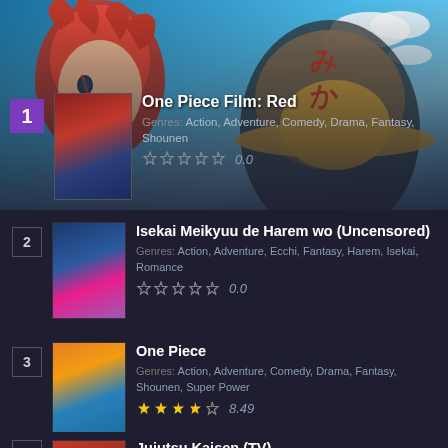[Figure (illustration): Anime-style hero background showing a character with red hair against a blue sky, used as decorative banner for the #1 ranked anime]
1. One Piece Film: Red — Genres: Action, Adventure, Comedy, Drama, Fantasy, Shounen — Rating: 0.0
2. Isekai Meikyuu de Harem wo (Uncensored) — Genres: Action, Adventure, Ecchi, Fantasy, Harem, Isekai, Romance — Rating: 0.0
3. One Piece — Genres: Action, Adventure, Comedy, Drama, Fantasy, Shounen, Super Power — Rating: 8.49
4. Jujutsu Kaisen (TV) — Genres: Action, Demons, Horror, School, Shounen